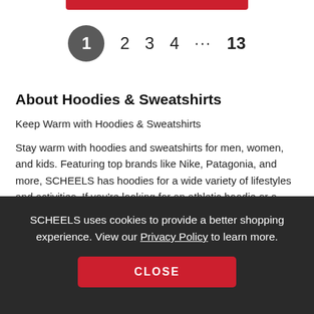1  2  3  4  ...  13
About Hoodies & Sweatshirts
Keep Warm with Hoodies & Sweatshirts
Stay warm with hoodies and sweatshirts for men, women, and kids. Featuring top brands like Nike, Patagonia, and more, SCHEELS has hoodies for a wide variety of lifestyles and activities. If you're looking for an athletic hoodie or a sweatshirt to keep warm while outdoors, SCHEELS offers a sweatshirt to keep you comfortable all day long. Whether you're seeking warmth for relaxation or recreation, find a hoodie that suits you and your lifestyle.
SCHEELS uses cookies to provide a better shopping experience. View our Privacy Policy to learn more.